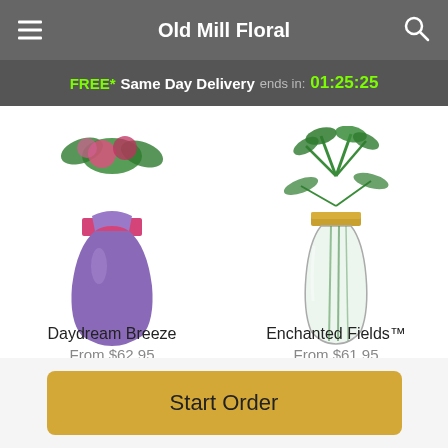Old Mill Floral
FREE* Same Day Delivery ends in: 01:25:25
[Figure (photo): Two floral product images side by side: left is Daydream Breeze in a purple vase with pink flowers; right is Enchanted Fields in a clear glass vase with green stems and yellow lid]
Daydream Breeze
From $62.95
Enchanted Fields™
From $61.95
[Figure (logo): Powered by Lovingly logo with pink heart icon and dark blue text]
Start Order